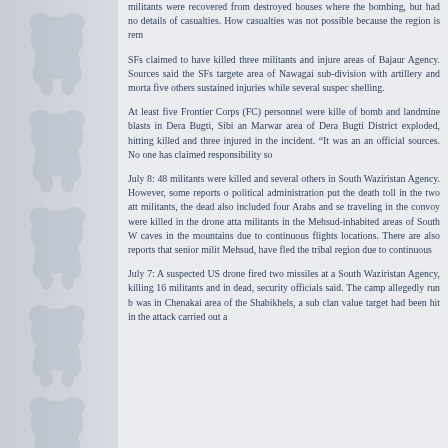[Figure (illustration): Left decorative panel with repeated watermark/logo images of a bear or animal silhouette arranged vertically, shown in light grey on a grey gradient background]
militants were recovered from destroyed houses where the bombing, but had no details of casualties. However, casualties was not possible because the region is remote.
SFs claimed to have killed three militants and injured areas of Bajaur Agency. Sources said the SFs targeted area of Nawagai sub-division with artillery and mortar, five others sustained injuries while several suspects shelling.
At least five Frontier Corps (FC) personnel were killed of bomb and landmine blasts in Dera Bugti, Sibi and Marwar area of Dera Bugti District exploded, hitting killed and three injured in the incident. "It was an ambush" official sources. No one has claimed responsibility so
July 8: 48 militants were killed and several others injured South Waziristan Agency. However, some reports of political administration put the death toll in the two attacks militants, the dead also included four Arabs and several traveling in the convoy were killed in the drone attack. militants in the Mehsud-inhabited areas of South Waziristan caves in the mountains due to continuous flights locations. There are also reports that senior militants, Mehsud, have fled the tribal region due to continuous
July 7: A suspected US drone fired two missiles at a South Waziristan Agency, killing 16 militants and injuring dead, security officials said. The camp allegedly run by was in Chenakai area of the Shabikhels, a sub clan value target had been hit in the attack carried out at